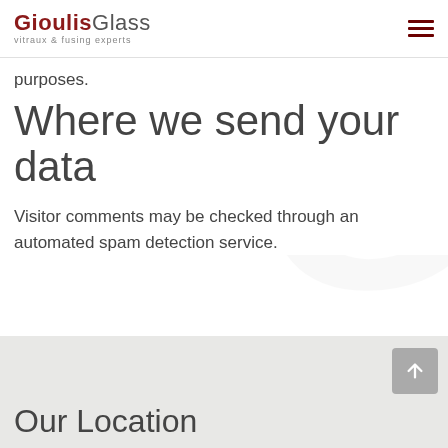GioulisGlass vitraux & fusing experts
purposes.
Where we send your data
Visitor comments may be checked through an automated spam detection service.
Our Location